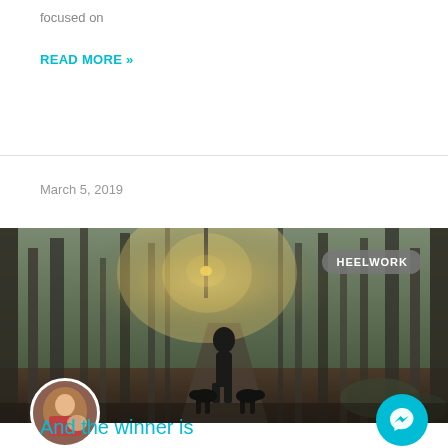focused on
READ MORE »
March 5, 2019
[Figure (photo): Person walking two black dogs on a forest path with golden light from a street lamp in the mist. Badge overlay reads HEELWORK.]
[Figure (photo): Circular avatar of a person in a red top with a dog outdoors.]
And the winner is